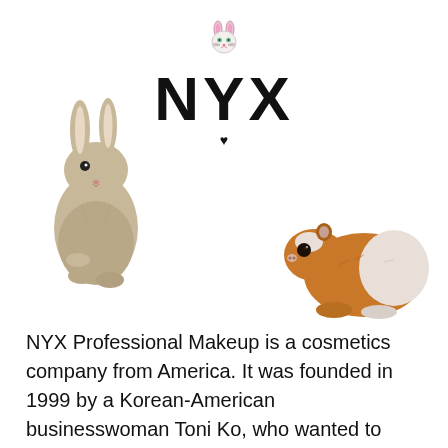[Figure (logo): NYX Professional Makeup logo with cartoon bunny icon above the stylized NYX wordmark and a small heart below]
[Figure (photo): A grey rabbit standing upright on hind legs, facing right, on white background]
[Figure (photo): An orange and white guinea pig facing left, on white background]
NYX Professional Makeup is a cosmetics company from America. It was founded in 1999 by a Korean-American businesswoman Toni Ko, who wanted to combine the high-quality of prestigious brands with affordable